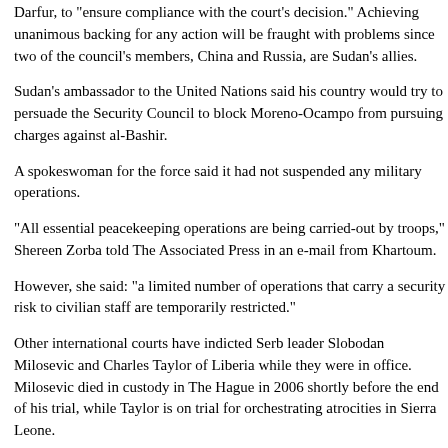Darfur, to "ensure compliance with the court's decision." Achieving unanimous backing for any action will be fraught with problems since two of the council's members, China and Russia, are Sudan's allies.
Sudan's ambassador to the United Nations said his country would try to persuade the Security Council to block Moreno-Ocampo from pursuing charges against al-Bashir.
A spokeswoman for the force said it had not suspended any military operations.
"All essential peacekeeping operations are being carried-out by troops," Shereen Zorba told The Associated Press in an e-mail from Khartoum.
However, she said: "a limited number of operations that carry a security risk to civilian staff are temporarily restricted."
Other international courts have indicted Serb leader Slobodan Milosevic and Charles Taylor of Liberia while they were in office. Milosevic died in custody in The Hague in 2006 shortly before the end of his trial, while Taylor is on trial for orchestrating atrocities in Sierra Leone.